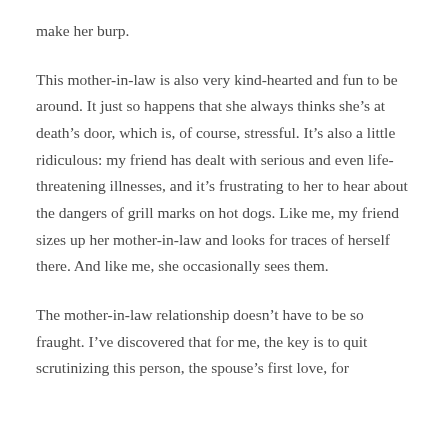make her burp.
This mother-in-law is also very kind-hearted and fun to be around. It just so happens that she always thinks she’s at death’s door, which is, of course, stressful. It’s also a little ridiculous: my friend has dealt with serious and even life-threatening illnesses, and it’s frustrating to her to hear about the dangers of grill marks on hot dogs. Like me, my friend sizes up her mother-in-law and looks for traces of herself there. And like me, she occasionally sees them.
The mother-in-law relationship doesn’t have to be so fraught. I’ve discovered that for me, the key is to quit scrutinizing this person, the spouse’s first love, for